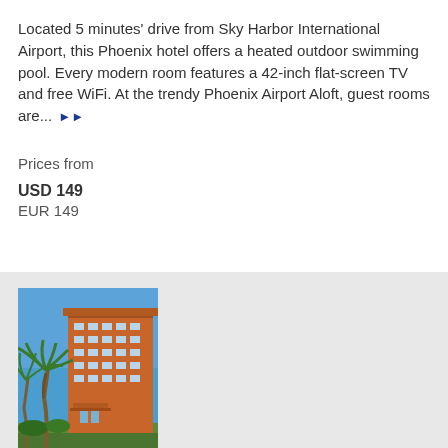Located 5 minutes' drive from Sky Harbor International Airport, this Phoenix hotel offers a heated outdoor swimming pool. Every modern room features a 42-inch flat-screen TV and free WiFi. At the trendy Phoenix Airport Aloft, guest rooms are... ▶▶
Prices from
USD 149
EUR 149
[Figure (photo): Photo of a multi-story hotel building with orange/terracotta facade, palm tree in foreground, blue sky background. Appears to be the Phoenix Airport Aloft hotel.]